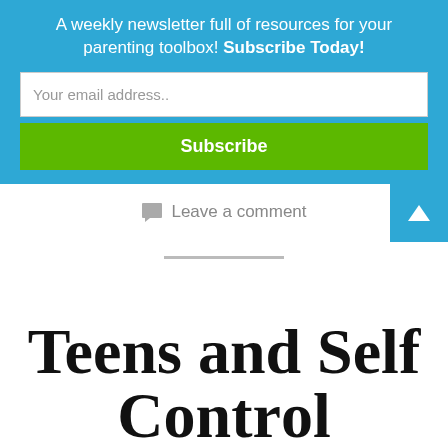A weekly newsletter full of resources for your parenting toolbox! Subscribe Today!
Your email address..
Subscribe
Leave a comment
Teens and Self Control